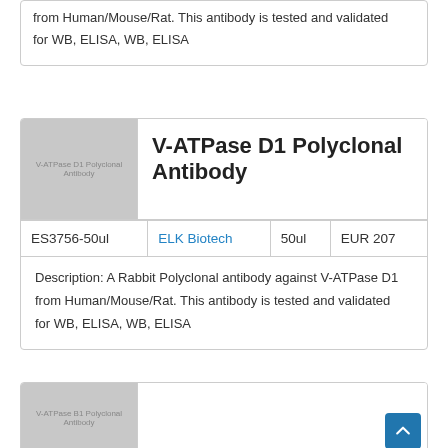from Human/Mouse/Rat. This antibody is tested and validated for WB, ELISA, WB, ELISA
[Figure (photo): Placeholder image for V-ATPase D1 Polyclonal Antibody product]
V-ATPase D1 Polyclonal Antibody
| ES3756-50ul | ELK Biotech | 50ul | EUR 207 |
| --- | --- | --- | --- |
Description: A Rabbit Polyclonal antibody against V-ATPase D1 from Human/Mouse/Rat. This antibody is tested and validated for WB, ELISA, WB, ELISA
[Figure (photo): Placeholder image for V-ATPase B1 Polyclonal Antibody product]